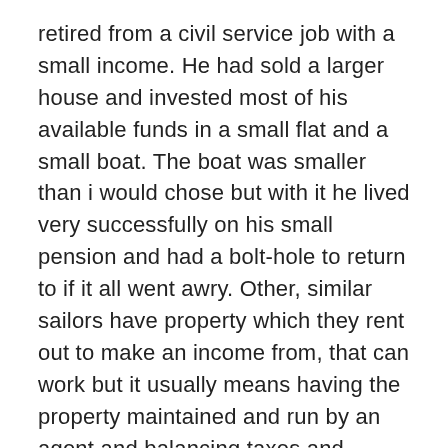retired from a civil service job with a small income.  He had sold a larger house and invested most of his available funds in a small flat and a small boat.  The boat was smaller than i would chose but with it he lived very successfully on his small pension and had a bolt-hole to return to if it all went awry.  Other, similar sailors have property which they rent out to make an income from, that can work but it usually means having the property maintained and run by an agent and balancing taxes and income.  He said that the main trick is to keep the boat small, keep the costs down and get the boat well sorted before setting out.....after that to get out there and just live the life.  His boat was , as i remember it today, slightly smaller than even my little boat.
At the end of this post i thought that a good way